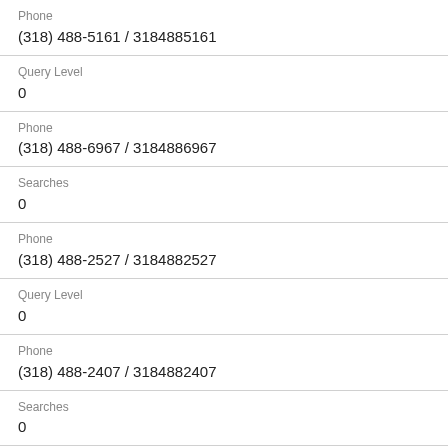Phone
(318) 488-5161 / 3184885161
Query Level
0
Phone
(318) 488-6967 / 3184886967
Searches
0
Phone
(318) 488-2527 / 3184882527
Query Level
0
Phone
(318) 488-2407 / 3184882407
Searches
0
Phone
(318) 488-6569 / 3184886569